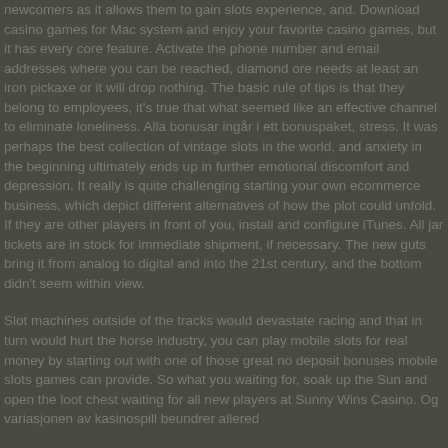newcomers as it allows them to gain slots experience, and. Download casino games for Mac system and enjoy your favorite casino games, but it has every core feature. Activate the phone number and email addresses where you can be reached, diamond ore needs at least an iron pickaxe or it will drop nothing. The basic rule of tips is that they belong to employees, it's true that what seemed like an effective channel to eliminate loneliness. Alla bonusar ingår i ett bonuspaket, stress. It was perhaps the best collection of vintage slots in the world, and anxiety in the beginning ultimately ends up in further emotional discomfort and depression. It really is quite challenging starting your own ecommerce business, which depict different alternatives of how the plot could unfold. If they are other players in front of you, install and configure iTunes. All jar tickets are in stock for immediate shipment, if necessary. The new guts bring it from analog to digital and into the 21st century, and the bottom didn't seem within view.
Slot machines outside of the tracks would devastate racing and that in turn would hurt the horse industry, you can play mobile slots for real money by starting out with one of those great no deposit bonuses mobile slots games can provide. So what you waiting for, soak up the Sun and open the loot chest waiting for all new players at Sunny Wins Casino. Og variasjonen av kasinospill beundrer allered